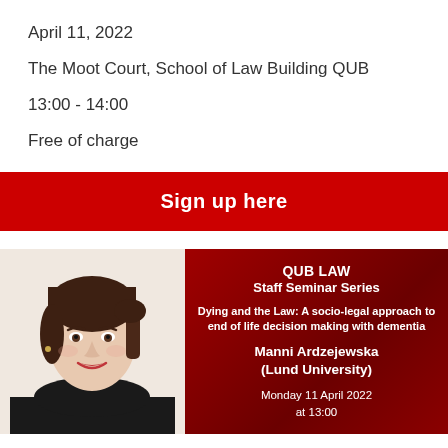April 11, 2022
The Moot Court, School of Law Building QUB
13:00 - 14:00
Free of charge
Sign up here
[Figure (photo): Headshot photo of a woman with dark hair pulled back, smiling, wearing a dark top and earrings]
[Figure (infographic): Red card with QUB LAW Staff Seminar Series title, talk title 'Dying and the Law: A socio-legal approach to end of life decision making with dementia', speaker Manni Ardzejewska (Lund University), date Monday 11 April 2022 at 13:00]